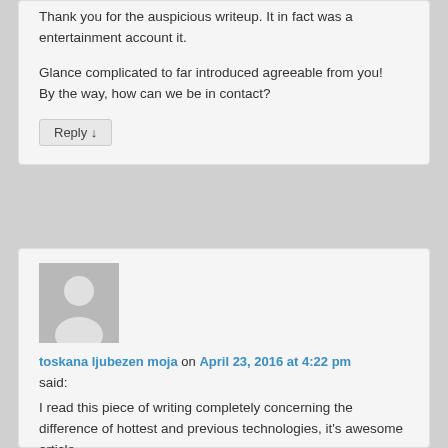Thank you for the auspicious writeup. It in fact was a entertainment account it.
Glance complicated to far introduced agreeable from you!
By the way, how can we be in contact?
Reply ↓
toskana ljubezen moja on April 23, 2016 at 4:22 pm
said:
I read this piece of writing completely concerning the difference of hottest and previous technologies, it's awesome article.